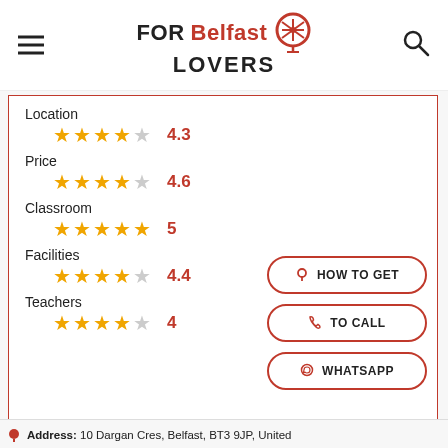FOR Belfast LOVERS
Location
★★★★½ 4.3
Price
★★★★½ 4.6
Classroom
★★★★★ 5
Facilities
★★★★½ 4.4
Teachers
★★★★☆ 4
HOW TO GET
TO CALL
WHATSAPP
Address: 10 Dargan Cres, Belfast, BT3 9JP, United